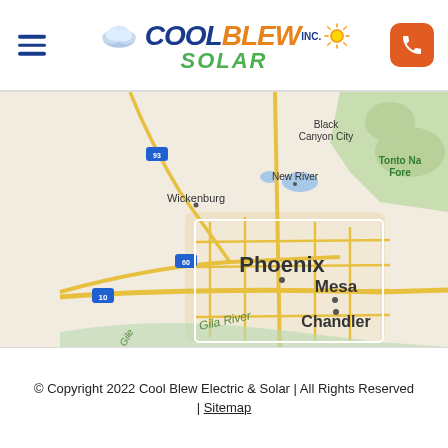Cool Blew Inc. Solar
[Figure (map): Google Maps view of the Phoenix, Arizona metro area showing Wickenburg, Black Canyon City, New River, Tonto National Forest, Phoenix, Mesa, Chandler, Gila River, and major highways including 93, 60, and 10.]
© Copyright 2022 Cool Blew Electric & Solar | All Rights Reserved | Sitemap